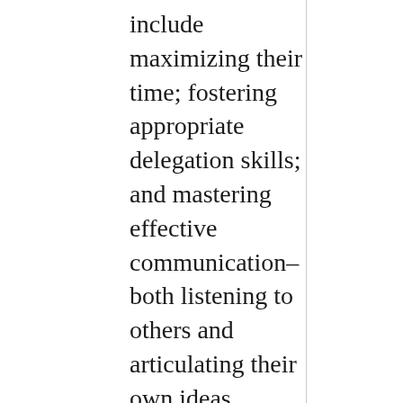include maximizing their time; fostering appropriate delegation skills; and mastering effective communication–both listening to others and articulating their own ideas.
Treat them with respect and enable their learning. Embrace their mistakes and help them learn. Enable them to succeed. You'll create highly loyal employees who are motivated